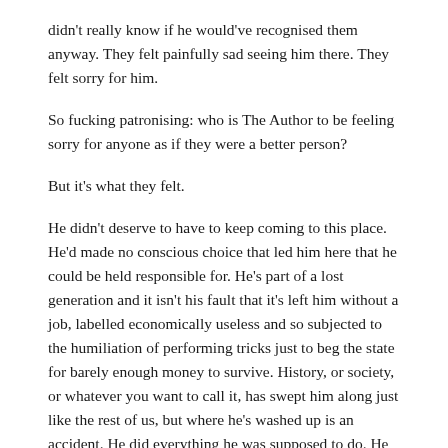didn't really know if he would've recognised them anyway. They felt painfully sad seeing him there. They felt sorry for him.
So fucking patronising: who is The Author to be feeling sorry for anyone as if they were a better person?
But it's what they felt.
He didn't deserve to have to keep coming to this place. He'd made no conscious choice that led him here that he could be held responsible for. He's part of a lost generation and it isn't his fault that it's left him without a job, labelled economically useless and so subjected to the humiliation of performing tricks just to beg the state for barely enough money to survive. History, or society, or whatever you want to call it, has swept him along just like the rest of us, but where he's washed up is an accident. He did everything he was supposed to do. He did exactly what he was told. It was just unfortunate for him that he wasn't very good at anything.